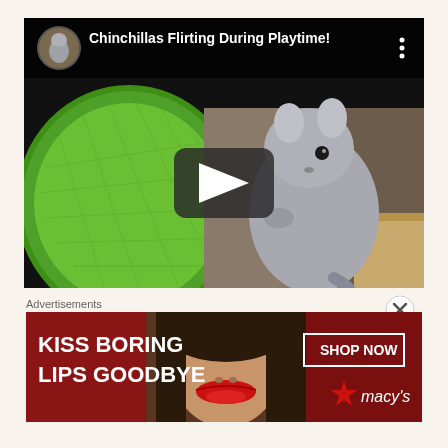[Figure (screenshot): YouTube video player showing 'Chinchillas Flirting During Playtime!' with a chinchilla standing next to a green mesh wheel. The video has a play button overlay and a thumbnail in the top-left corner. A three-dot menu icon appears in the top-right.]
Advertisements
[Figure (photo): Macy's advertisement banner: 'KISS BORING LIPS GOODBYE' with 'SHOP NOW' button and Macy's star logo on a dark red background. Shows a woman's face with red lipstick.]